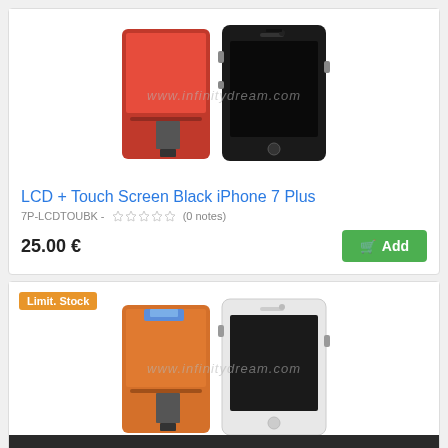[Figure (photo): Product photo of LCD + Touch Screen Black iPhone 7 Plus, showing front and back views of the replacement screen assembly. Watermark: www.infinitydream.com]
LCD + Touch Screen Black iPhone 7 Plus
7P-LCDTOUBK - ☆☆☆☆☆ (0 notes)
25.00 €
Add
[Figure (photo): Product photo of a second iPhone replacement screen (white/light version), showing front and back views. Badge: Limit. Stock. Watermark: www.infinitydream.com]